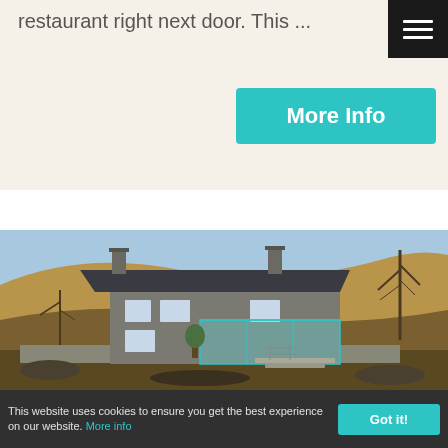restaurant right next door. This ...
[Figure (screenshot): Hamburger menu icon (three white lines on black background) in top-right corner]
More Info
[Figure (photo): Stone farmhouse with slate roof and glass conservatory extension, set against a hillside with bare trees and scrubby moorland under a blue sky]
This website uses cookies to ensure you get the best experience on our website. More info
Got it!